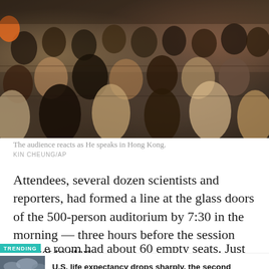[Figure (photo): A crowded auditorium with several dozen people seated and reacting, photographed from the side. People hold laptops and cameras, seated in theatre-style chairs.]
The audience reacts as He speaks in Hong Kong.
KIN CHEUNG/AP
Attendees, several dozen scientists and reporters, had formed a line at the glass doors of the 500-person auditorium by 7:30 in the morning — three hours before the session was set to start —
TRENDING e room had about 60 empty seats. Just
U.S. life expectancy drops sharply, the second consecutive decline